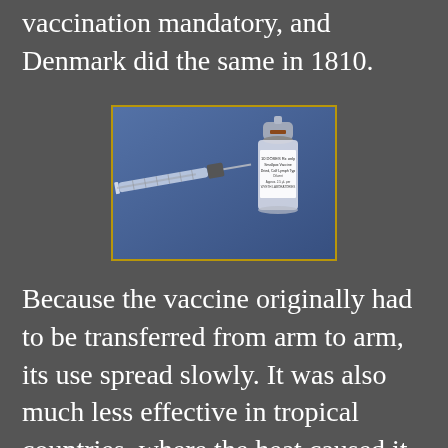vaccination mandatory, and Denmark did the same in 1810.
[Figure (photo): A medical syringe lying next to a smallpox vaccine vial on a blue background. The vial label reads 'Smallpox Vaccine Dried, Calf Lymph Type' with additional text about doses and approximate volume.]
Because the vaccine originally had to be transferred from arm to arm, its use spread slowly. It was also much less effective in tropical countries, where the heat caused it to quickly deteriorate. Nonetheless, one country after another managed to rid itself of the disease. The last reported U.S. case